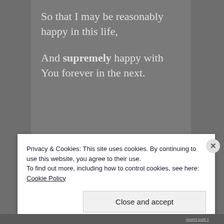So that I may be reasonably happy in this life,

And supremely happy with You forever in the next.
Privacy & Cookies: This site uses cookies. By continuing to use this website, you agree to their use.
To find out more, including how to control cookies, see here: Cookie Policy
Close and accept